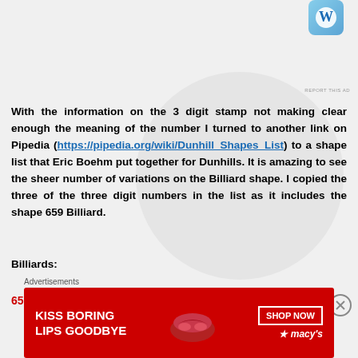[Figure (logo): WordPress logo in blue rounded square]
REPORT THIS AD
With the information on the 3 digit stamp not making clear enough the meaning of the number I turned to another link on Pipedia (https://pipedia.org/wiki/Dunhill_Shapes_List) to a shape list that Eric Boehm put together for Dunhills. It is amazing to see the sheer number of variations on the Billiard shape. I copied the three of the three digit numbers in the list as it includes the shape 659 Billiard.
Billiards:
659 Billiard. saddle bit 4 5½″ 1950. 1969 3
Advertisements
[Figure (photo): Macy's advertisement banner: KISS BORING LIPS GOODBYE with red lips photo, SHOP NOW button, Macy's star logo]